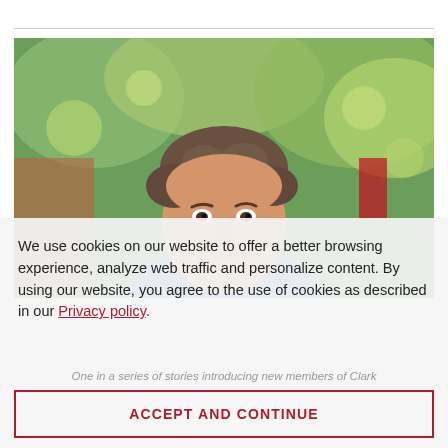[Figure (photo): Outdoor portrait of a middle-aged man with curly brown-gray hair, wearing a blue shirt, with blurred green trees and brick building in background.]
We use cookies on our website to offer a better browsing experience, analyze web traffic and personalize content. By using our website, you agree to the use of cookies as described in our Privacy policy.
One in a series of stories introducing new members of Clark
ACCEPT AND CONTINUE